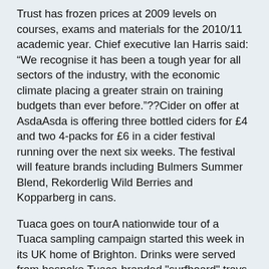Trust has frozen prices at 2009 levels on courses, exams and materials for the 2010/11 academic year. Chief executive Ian Harris said: “We recognise it has been a tough year for all sectors of the industry, with the economic climate placing a greater strain on training budgets than ever before.”??Cider on offer at AsdaAsda is offering three bottled ciders for £4 and two 4-packs for £6 in a cider festival running over the next six weeks. The festival will feature brands including Bulmers Summer Blend, Rekorderlig Wild Berries and Kopparberg in cans.
Tuaca goes on tourA nationwide tour of a Tuaca sampling campaign started this week in its UK home of Brighton. Drinks were served from bespoke Tuaca-branded "surfboard" trays and consumers were offered prizes via Facebook. The tour will finish in Inverness in mid-September after visiting 20 cities.